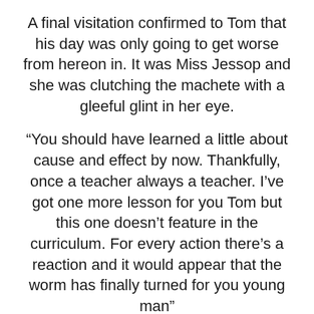A final visitation confirmed to Tom that his day was only going to get worse from hereon in. It was Miss Jessop and she was clutching the machete with a gleeful glint in her eye.
“You should have learned a little about cause and effect by now. Thankfully, once a teacher always a teacher. I’ve got one more lesson for you Tom but this one doesn’t feature in the curriculum. For every action there’s a reaction and it would appear that the worm has finally turned for you young man”
She placed the blade against his Adam’s